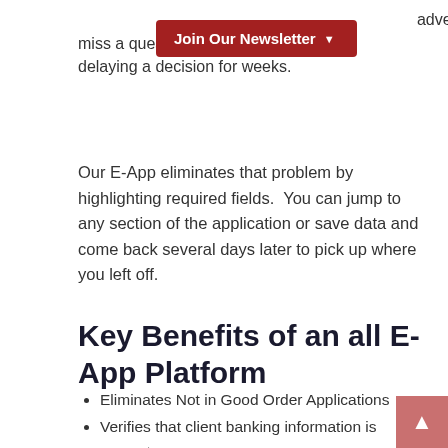Join Our Newsletter
advertently miss a question delaying a decision for weeks.
Our E-App eliminates that problem by highlighting required fields.  You can jump to any section of the application or save data and come back several days later to pick up where you left off.
Key Benefits of an all E-App Platform
Eliminates Not in Good Order Applications
Verifies that client banking information is accurate
Verifies critical client information including DOB and SSN